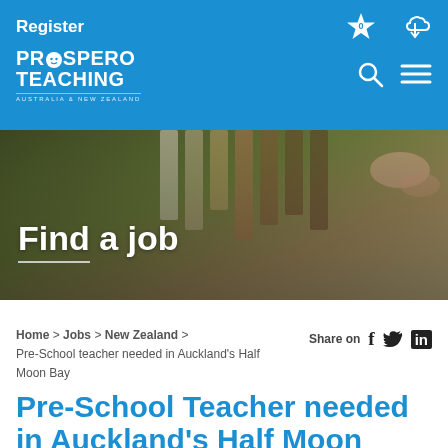Register
[Figure (logo): Prospero Teaching Australia & New Zealand logo in white on blue background]
[Figure (photo): Hero image showing children's hands holding colorful crayons/sticks with Find a job text overlay]
Find a job
Home > Jobs > New Zealand > Pre-School teacher needed in Auckland's Half Moon Bay
Share on
Pre-School Teacher needed in Auckland's Half Moon